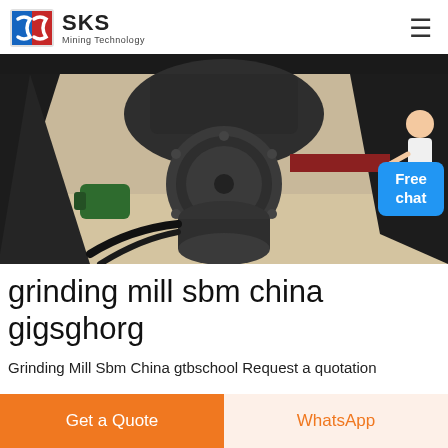SKS Mining Technology
[Figure (photo): Underside mechanical view of a grinding mill machine showing heavy cast iron components, gearbox, structural steel frame, motor, and belt/cable assemblies on a factory floor.]
grinding mill sbm china gigsghorg
Grinding Mill Sbm China gtbschool Request a quotation
Get a Quote | WhatsApp